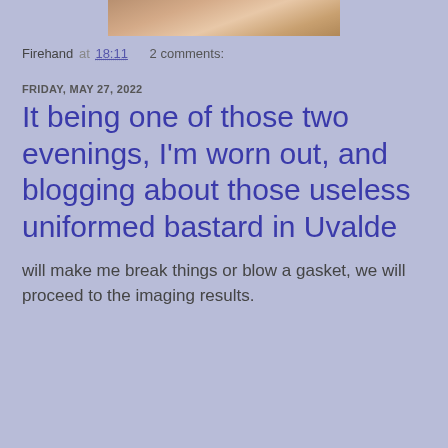[Figure (photo): Partial cropped photo of a person, showing torso area, light colored clothing, visible at top of page]
Firehand at 18:11    2 comments:
FRIDAY, MAY 27, 2022
It being one of those two evenings, I'm worn out, and blogging about those useless uniformed bastard in Uvalde
will make me break things or blow a gasket, we will proceed to the imaging results.